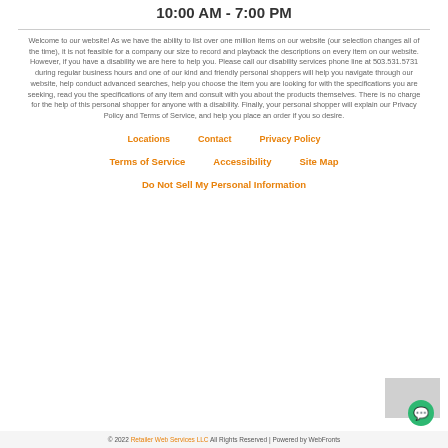10:00 AM - 7:00 PM
Welcome to our website! As we have the ability to list over one million items on our website (our selection changes all of the time), it is not feasible for a company our size to record and playback the descriptions on every item on our website. However, if you have a disability we are here to help you. Please call our disability services phone line at 503.531.5731 during regular business hours and one of our kind and friendly personal shoppers will help you navigate through our website, help conduct advanced searches, help you choose the item you are looking for with the specifications you are seeking, read you the specifications of any item and consult with you about the products themselves. There is no charge for the help of this personal shopper for anyone with a disability. Finally, your personal shopper will explain our Privacy Policy and Terms of Service, and help you place an order if you so desire.
Locations
Contact
Privacy Policy
Terms of Service
Accessibility
Site Map
Do Not Sell My Personal Information
© 2022 Retailer Web Services LLC All Rights Reserved | Powered by WebFronts